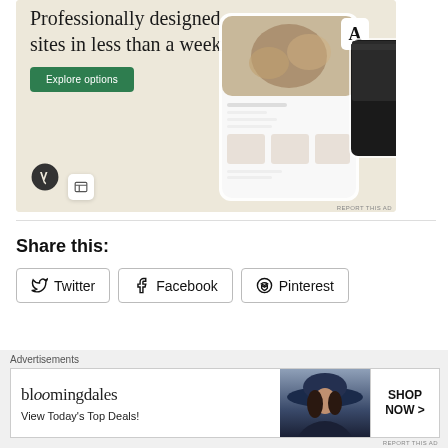[Figure (screenshot): WordPress.com advertisement showing 'Professionally designed sites in less than a week' with Explore options button, WordPress logo, and website mockup on phone screens]
Share this:
Twitter
Facebook
Pinterest
[Figure (screenshot): Bloomingdale's advertisement: 'View Today's Top Deals!' with SHOP NOW > button and image of woman in hat]